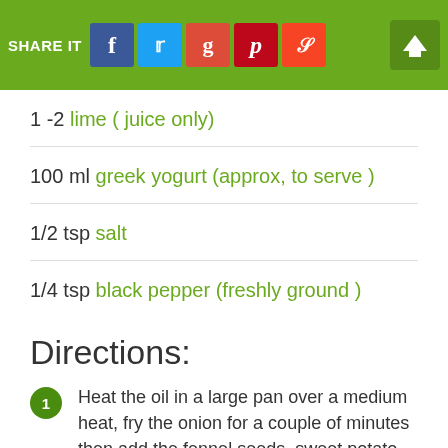SHARE IT [social buttons: Facebook, Twitter, Google+, Pinterest, StumbleUpon]
1 -2 lime ( juice only)
100 ml greek yogurt (approx, to serve )
1/2 tsp salt
1/4 tsp black pepper (freshly ground )
Directions:
1. Heat the oil in a large pan over a medium heat, fry the onion for a couple of minutes then add the fennel seeds, sweet potato, garlic and ginger.
2. Reduce the heat to low, cover with a lid and allow to